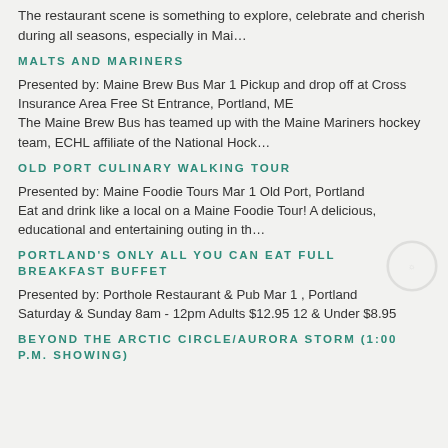The restaurant scene is something to explore, celebrate and cherish during all seasons, especially in Mai…
MALTS AND MARINERS
Presented by: Maine Brew Bus Mar 1 Pickup and drop off at Cross Insurance Area Free St Entrance, Portland, ME
The Maine Brew Bus has teamed up with the Maine Mariners hockey team, ECHL affiliate of the National Hock…
OLD PORT CULINARY WALKING TOUR
Presented by: Maine Foodie Tours Mar 1 Old Port, Portland
Eat and drink like a local on a Maine Foodie Tour! A delicious, educational and entertaining outing in th…
PORTLAND'S ONLY ALL YOU CAN EAT FULL BREAKFAST BUFFET
Presented by: Porthole Restaurant & Pub Mar 1 , Portland
Saturday & Sunday 8am - 12pm Adults $12.95 12 & Under $8.95
BEYOND THE ARCTIC CIRCLE/AURORA STORM (1:00 P.M. SHOWING)